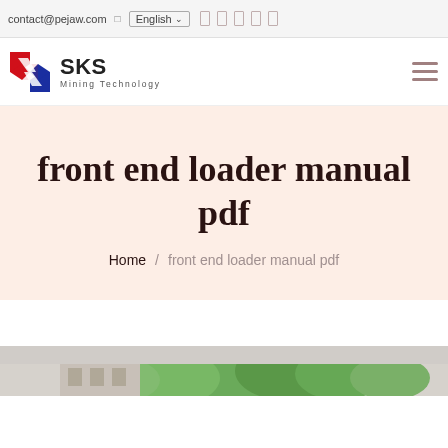contact@pejaw.com  English
[Figure (logo): SKS Mining Technology logo with red and blue arrow icon]
front end loader manual pdf
Home / front end loader manual pdf
[Figure (photo): Partial photo of industrial equipment or facility, visible at bottom of page]